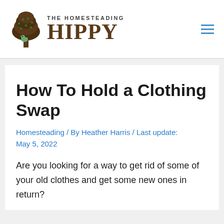THE HOMESTEADING HIPPY
How To Hold a Clothing Swap
Homesteading / By Heather Harris / Last update: May 5, 2022
Are you looking for a way to get rid of some of your old clothes and get some new ones in return?